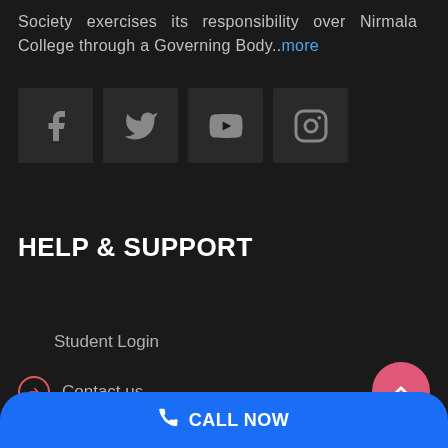Society exercises its responsibility over Nirmala College through a Governing Body...more
[Figure (other): Social media icon buttons: Facebook, Twitter, YouTube, Instagram on dark background]
HELP & SUPPORT
Student Login
Contact us
Admission Guide
CALL NOW